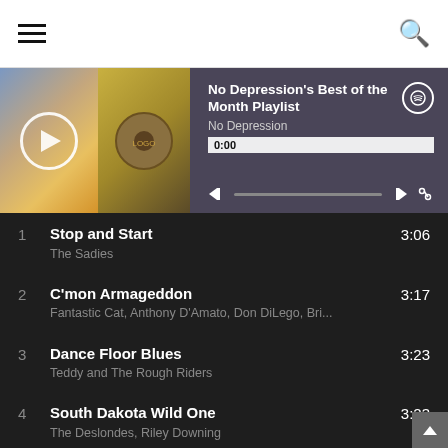[Figure (screenshot): Navigation bar with hamburger menu on left and search icon on right]
[Figure (screenshot): Spotify-style music player showing 'No Depression's Best of the Month Playlist' by No Depression, with album art, play controls, progress bar at 0:00]
1  Stop and Start
The Sadies  3:06
2  C'mon Armageddon
Fantastic Cat, Anthony D'Amato, Don DiLego, Bri...  3:17
3  Dance Floor Blues
Teddy and The Rough Riders  3:23
4  South Dakota Wild One
The Deslondes, Riley Downing  3:23
5  Ugly Faces
John Moreland  3:15
6  Beyond the Stars (feat. Willie Nelson)
Tami Neilson, Willie Nelson  3:20